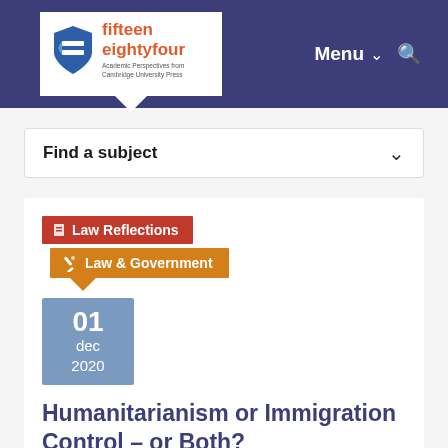[Figure (logo): Fifteen Eighty Four - Academic Perspectives from Cambridge University Press logo with blue shield icon]
Menu
Find a subject
Law Reflections
Law & Government
01 dec 2020
Humanitarianism or Immigration Control – or Both?
Liv Feijen